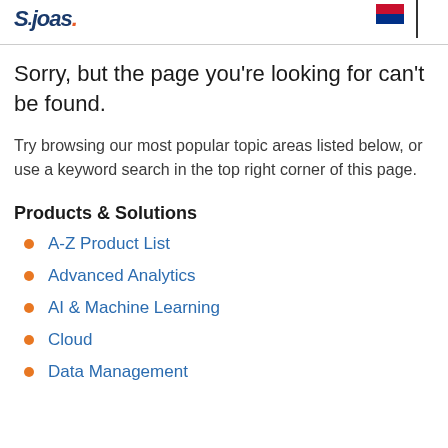SAS logo and flag icon
Sorry, but the page you’re looking for can’t be found.
Try browsing our most popular topic areas listed below, or use a keyword search in the top right corner of this page.
Products & Solutions
A-Z Product List
Advanced Analytics
AI & Machine Learning
Cloud
Data Management